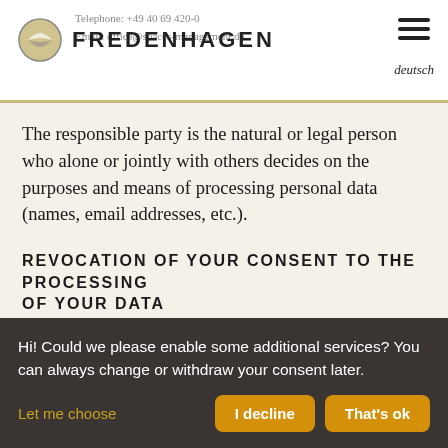FREDENHAGEN | Telephone: +49 40 69 420-0 | Email: office@spaces-management.de
The responsible party is the natural or legal person who alone or jointly with others decides on the purposes and means of processing personal data (names, email addresses, etc.).
REVOCATION OF YOUR CONSENT TO THE PROCESSING OF YOUR DATA
Many data processing operations are only possible with your express consent. You may
Hi! Could we please enable some additional services? You can always change or withdraw your consent later.
Let me choose
I decline
That's ok